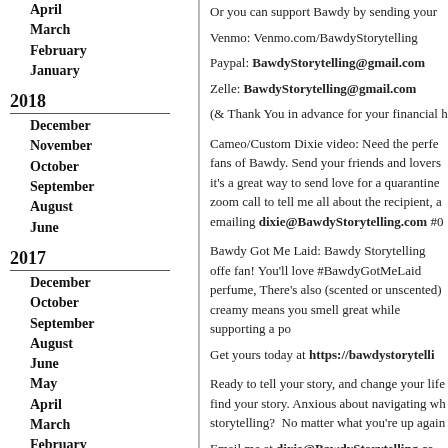April
March
February
January
2018
December
November
October
September
August
June
2017
December
October
September
August
June
May
April
March
February
January
2016
December
November
October
2013
October
Or you can support Bawdy by sending your
Venmo: Venmo.com/BawdyStorytelling
Paypal: BawdyStorytelling@gmail.com
Zelle: BawdyStorytelling@gmail.com
(& Thank You in advance for your financial h
Cameo/Custom Dixie video: Need the perfe fans of Bawdy. Send your friends and lovers it's a great way to send love for a quarantine zoom call to tell me all about the recipient, a emailing dixie@BawdyStorytelling.com #0
Bawdy Got Me Laid: Bawdy Storytelling offe fan! You'll love #BawdyGotMeLaid perfume, There's also (scented or unscented) creamy means you smell great while supporting a po
Get yours today at https://bawdystorytelli
Ready to tell your story, and change your life find your story. Anxious about navigating wh storytelling? No matter what you're up again
Email me at dixie@BawdyStorytelling.co answer any questions.
Check out our Bawdy Storytelling Fiends a